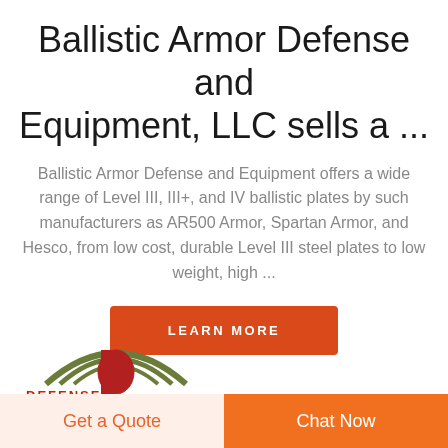Ballistic Armor Defense and Equipment, LLC sells a ...
Ballistic Armor Defense and Equipment offers a wide range of Level III, III+, and IV ballistic plates by such manufacturers as AR500 Armor, Spartan Armor, and Hesco, from low cost, durable Level III steel plates to low weight, high ...
[Figure (logo): Logo with a shield/menorah-like emblem in olive green and dark red, with partial red text below]
Get a Quote  Chat Now